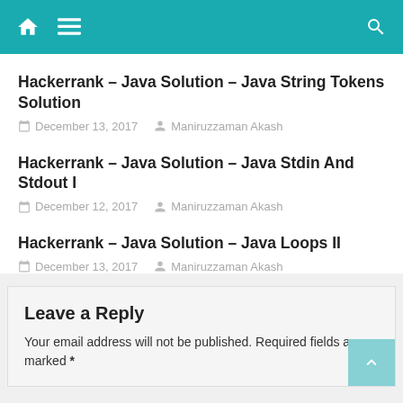Navigation bar with home, menu, and search icons
Hackerrank – Java Solution – Java String Tokens Solution
December 13, 2017   Maniruzzaman Akash
Hackerrank – Java Solution – Java Stdin And Stdout I
December 12, 2017   Maniruzzaman Akash
Hackerrank – Java Solution – Java Loops II
December 13, 2017   Maniruzzaman Akash
Leave a Reply
Your email address will not be published. Required fields are marked *